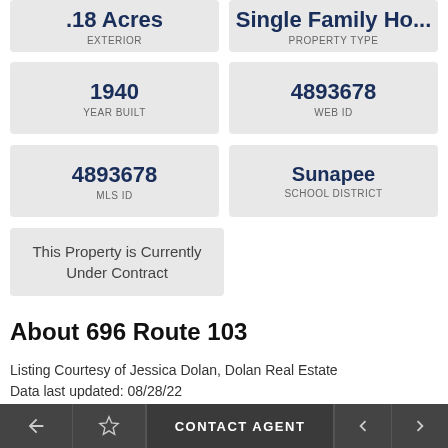.18 Acres EXTERIOR
Single Family Ho… PROPERTY TYPE
1940 YEAR BUILT
4893678 WEB ID
4893678 MLS ID
Sunapee SCHOOL DISTRICT
This Property is Currently Under Contract
About 696 Route 103
Listing Courtesy of Jessica Dolan, Dolan Real Estate
Data last updated: 08/28/22
AMAZING SPOT FOR A SKI GETAWAY! I...
CONTACT AGENT